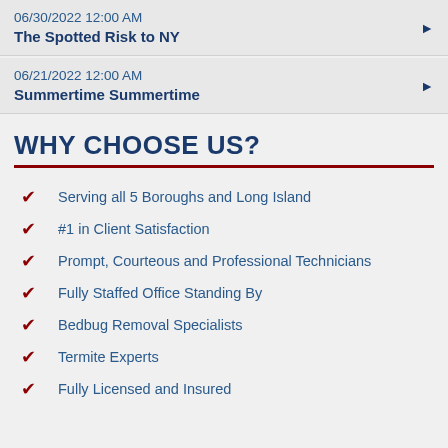06/30/2022 12:00 AM
The Spotted Risk to NY
06/21/2022 12:00 AM
Summertime Summertime
WHY CHOOSE US?
Serving all 5 Boroughs and Long Island
#1 in Client Satisfaction
Prompt, Courteous and Professional Technicians
Fully Staffed Office Standing By
Bedbug Removal Specialists
Termite Experts
Fully Licensed and Insured